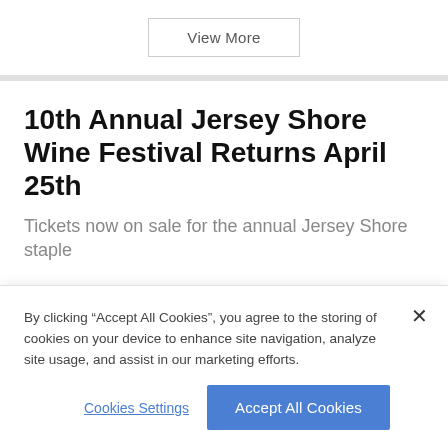View More
10th Annual Jersey Shore Wine Festival Returns April 25th
Tickets now on sale for the annual Jersey Shore staple
By clicking “Accept All Cookies”, you agree to the storing of cookies on your device to enhance site navigation, analyze site usage, and assist in our marketing efforts.
Cookies Settings
Accept All Cookies